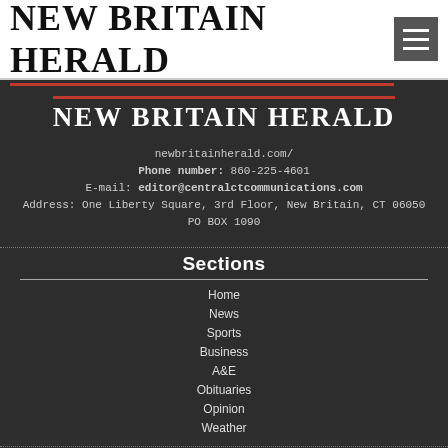NEW BRITAIN HERALD
NEW BRITAIN HERALD
newbritainherald.com/
Phone number: 860-225-4601
E-mail: editor@centralctcommunications.com
Address: One Liberty Square, 3rd Floor, New Britain, CT 06050
PO BOX 1090
Sections
Home
News
Sports
Business
A&E
Obituaries
Opinion
Weather
Services